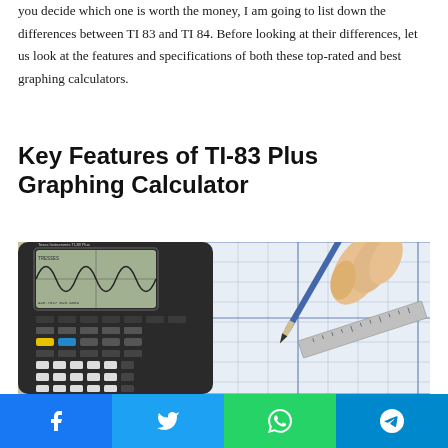you decide which one is worth the money, I am going to list down the differences between TI 83 and TI 84. Before looking at their differences, let us look at the features and specifications of both these top-rated and best graphing calculators.
Key Features of TI-83 Plus Graphing Calculator
[Figure (photo): A TI-83 Plus graphing calculator showing a sine wave graph on its screen, placed next to a hand holding a pencil over engineering/math paper with a ruler.]
Share buttons: Facebook, Twitter, WhatsApp, Telegram